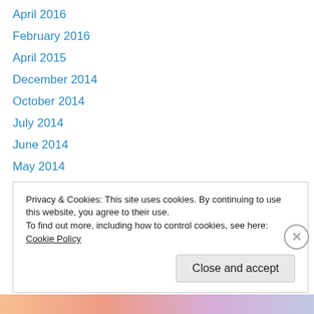April 2016
February 2016
April 2015
December 2014
October 2014
July 2014
June 2014
May 2014
February 2014
November 2013
October 2013
September 2013
August 2013
Privacy & Cookies: This site uses cookies. By continuing to use this website, you agree to their use.
To find out more, including how to control cookies, see here: Cookie Policy